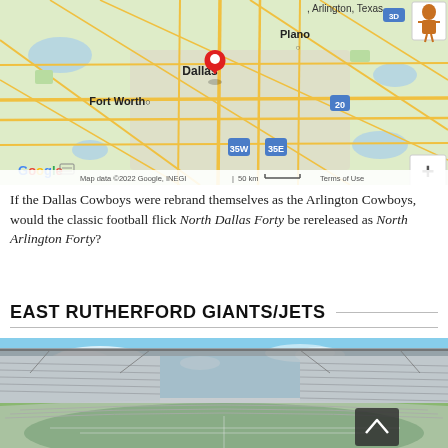[Figure (map): Google Maps showing Dallas-Fort Worth area with a red pin marker near Arlington, Texas. Shows cities: Plano, Dallas, Fort Worth. Highway labels: 35W, 35E, 20, 3D. Map data ©2022 Google, INEGI, 50 km scale. Controls: street view person, zoom in (+), zoom out (−).]
If the Dallas Cowboys were rebrand themselves as the Arlington Cowboys, would the classic football flick North Dallas Forty be rereleased as North Arlington Forty?
EAST RUTHERFORD GIANTS/JETS
[Figure (photo): Interior photo of a large NFL stadium (MetLife Stadium / New Meadowlands) showing green football field, multi-tiered seating stands in grey/white, and blue sky with light clouds visible above the open roof. A scroll-to-top button (dark background with up caret) is overlaid in the lower right.]